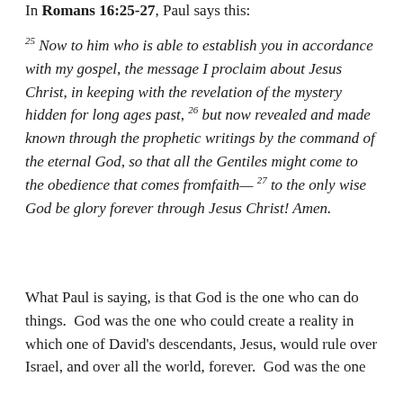In Romans 16:25-27, Paul says this:
25 Now to him who is able to establish you in accordance with my gospel, the message I proclaim about Jesus Christ, in keeping with the revelation of the mystery hidden for long ages past, 26 but now revealed and made known through the prophetic writings by the command of the eternal God, so that all the Gentiles might come to the obedience that comes fromfaith— 27 to the only wise God be glory forever through Jesus Christ! Amen.
What Paul is saying, is that God is the one who can do things.  God was the one who could create a reality in which one of David’s descendants, Jesus, would rule over Israel, and over all the world, forever.  God was the one